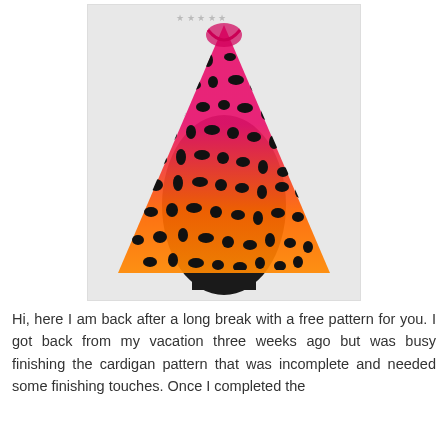[Figure (photo): A crocheted lace shawl displayed on a black dress form mannequin. The shawl transitions in color from hot pink/magenta at the top to bright orange at the bottom, with an open lacework pattern showing black gaps throughout. The background is white/light gray.]
Hi, here I am back after a long break with a free pattern for you. I got back from my vacation three weeks ago but was busy finishing the cardigan pattern that was incomplete and needed some finishing touches. Once I completed the